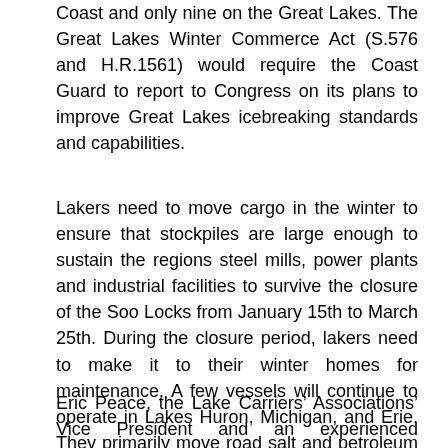Coast and only nine on the Great Lakes. The Great Lakes Winter Commerce Act (S.576 and H.R.1561) would require the Coast Guard to report to Congress on its plans to improve Great Lakes icebreaking standards and capabilities.
Lakers need to move cargo in the winter to ensure that stockpiles are large enough to sustain the regions steel mills, power plants and industrial facilities to survive the closure of the Soo Locks from January 15th to March 25th. During the closure period, lakers need to make it to their winter homes for maintenance. A few vessels will continue to operate in Lakes Huron, Michigan, and Erie. They primarily move road salt and petroleum products during the lock closure period.
Eric Peace, the Lake Carriers’ Associations’ Vice President and an experienced icebreaking sailor